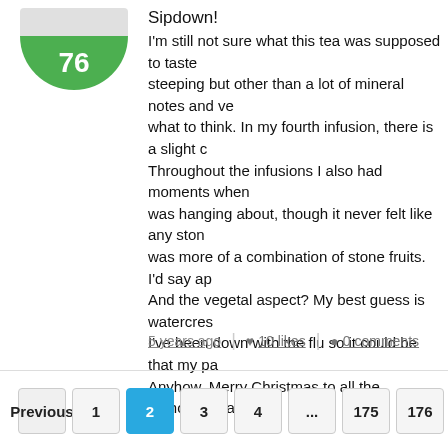Sipdown!
I'm still not sure what this tea was supposed to taste steeping but other than a lot of mineral notes and ve what to think. In my fourth infusion, there is a slight c Throughout the infusions I also had moments when was hanging about, though it never felt like any ston was more of a combination of stone fruits. I'd say ap And the vegetal aspect? My best guess is watercres I've been down with the flu so it could be that my pa Anyhow. Merry Christmas to all the Orthodox tea lov
5 years ago | ♥ 10 likes | ● 0 comments
Previous 1 2 3 4 ... 175 176 Next